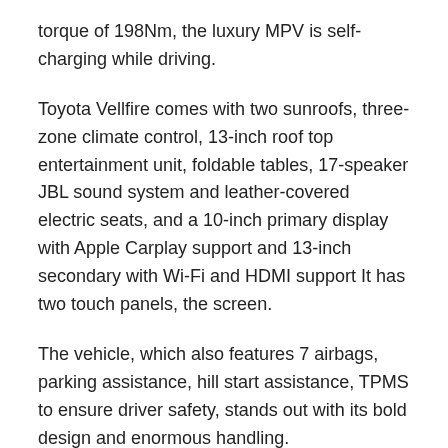torque of 198Nm, the luxury MPV is self-charging while driving.
Toyota Vellfire comes with two sunroofs, three-zone climate control, 13-inch roof top entertainment unit, foldable tables, 17-speaker JBL sound system and leather-covered electric seats, and a 10-inch primary display with Apple Carplay support and 13-inch secondary with Wi-Fi and HDMI support It has two touch panels, the screen.
The vehicle, which also features 7 airbags, parking assistance, hill start assistance, TPMS to ensure driver safety, stands out with its bold design and enormous handling.